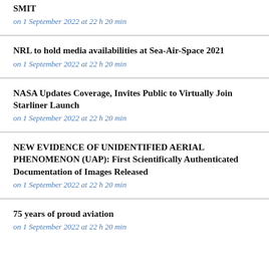[truncated] ...SMIT
on 1 September 2022 at 22 h 20 min
NRL to hold media availabilities at Sea-Air-Space 2021
on 1 September 2022 at 22 h 20 min
NASA Updates Coverage, Invites Public to Virtually Join Starliner Launch
on 1 September 2022 at 22 h 20 min
NEW EVIDENCE OF UNIDENTIFIED AERIAL PHENOMENON (UAP): First Scientifically Authenticated Documentation of Images Released
on 1 September 2022 at 22 h 20 min
75 years of proud aviation
on 1 September 2022 at 22 h 20 min